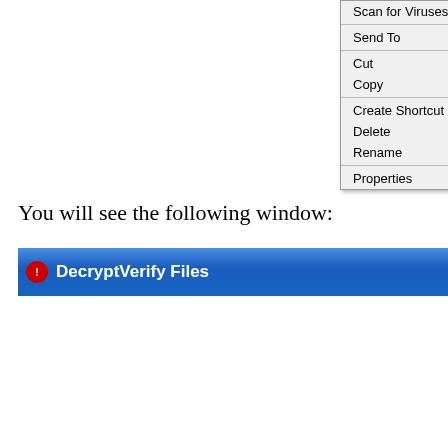[Figure (screenshot): Windows context menu showing options: Scan for Viruses..., Send To (with submenu arrow), Cut, Copy, Create Shortcut, Delete, Rename, Properties]
You will see the following window:
[Figure (screenshot): Window title bar for DecryptVerify Files application with blue gradient and red icon]